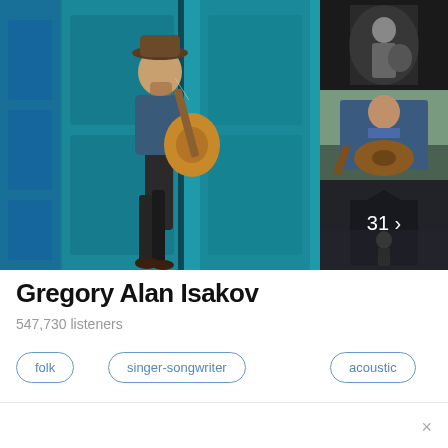[Figure (photo): Collage of photos of Gregory Alan Isakov: main large photo of musician with hat playing acoustic guitar in front of teal/blue doors, plus three smaller photos on the right side showing him performing and playing guitar, with a '31 >' count indicator on the third small photo]
Gregory Alan Isakov
547,730 listeners
folk
singer-songwriter
acoustic